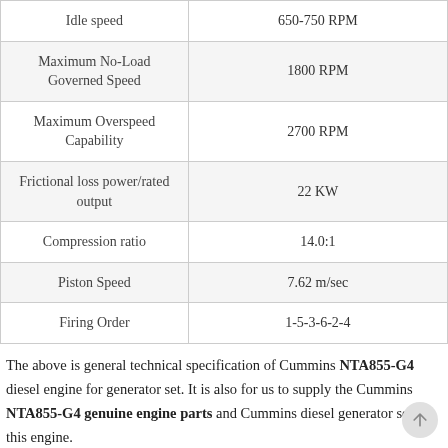|  |  |
| --- | --- |
| Idle speed | 650-750 RPM |
| Maximum No-Load Governed Speed | 1800 RPM |
| Maximum Overspeed Capability | 2700 RPM |
| Frictional loss power/rated output | 22 KW |
| Compression ratio | 14.0:1 |
| Piston Speed | 7.62 m/sec |
| Firing Order | 1-5-3-6-2-4 |
The above is general technical specification of Cummins NTA855-G4 diesel engine for generator set. It is also for us to supply the Cummins NTA855-G4 genuine engine parts and Cummins diesel generator set of this engine.